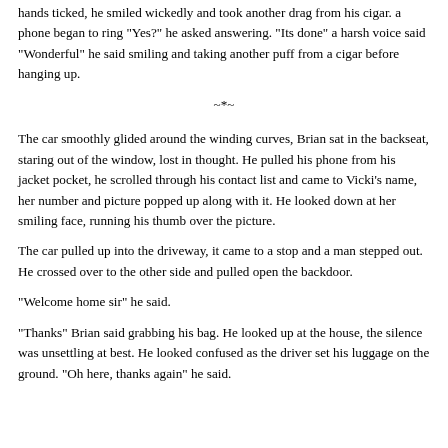closed. He pulled up his sleeve to glance at his watch and then looked up at the clock on the wall, its golden pendulum swinging back at forth as the hands ticked, he smiled wickedly and took another drag from his cigar. a phone began to ring "Yes?" he asked answering. "Its done" a harsh voice said "Wonderful" he said smiling and taking another puff from a cigar before hanging up.
~*~
The car smoothly glided around the winding curves, Brian sat in the backseat, staring out of the window, lost in thought. He pulled his phone from his jacket pocket, he scrolled through his contact list and came to Vicki's name, her number and picture popped up along with it. He looked down at her smiling face, running his thumb over the picture.
The car pulled up into the driveway, it came to a stop and a man stepped out. He crossed over to the other side and pulled open the backdoor.
"Welcome home sir" he said.
"Thanks" Brian said grabbing his bag. He looked up at the house, the silence was unsettling at best. He looked confused as the driver set his luggage on the ground. "Oh here, thanks again" he said.